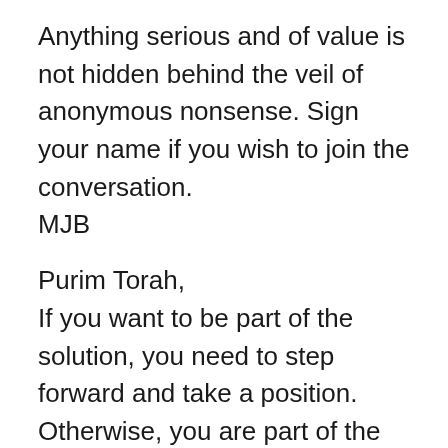Anything serious and of value is not hidden behind the veil of anonymous nonsense. Sign your name if you wish to join the conversation.
MJB
Purim Torah,
If you want to be part of the solution, you need to step forward and take a position. Otherwise, you are part of the problem of those who stand by silently. Do not think you can vindicate yourself of your responsibility to do the right...